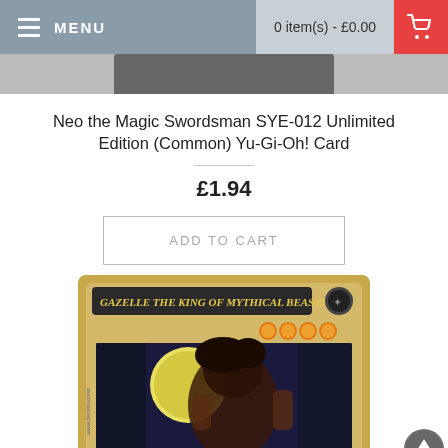MENU | 0 item(s) - £0.00
Neo the Magic Swordsman SYE-012 Unlimited Edition (Common) Yu-Gi-Oh! Card
£1.94
ADD TO CART
[Figure (photo): Yu-Gi-Oh! trading card partially visible showing 'Gazelle the King of Mythical Beasts' with dark creature artwork under moonlight, four orange star icons, and gold border]